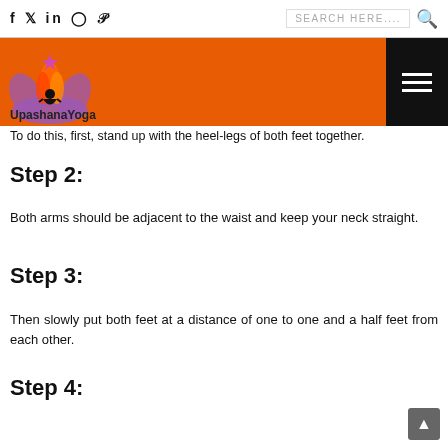f  𝕏  in  ◯  𝒫   SEARCH HERE....  🔍
[Figure (logo): UpashanaYoga logo on orange bar with hamburger menu button]
To do this, first, stand up with the heel-legs of both feet together.
Step 2:
Both arms should be adjacent to the waist and keep your neck straight.
Step 3:
Then slowly put both feet at a distance of one to one and a half feet from each other.
Step 4: